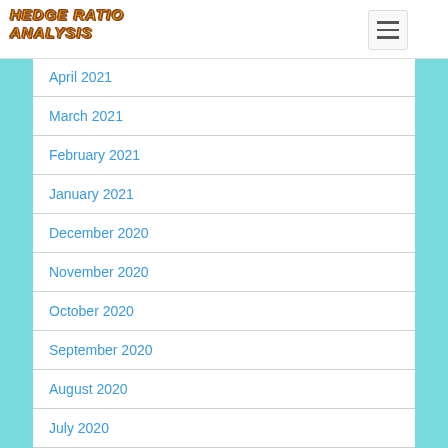HEDGE RATIO ANALYSIS
April 2021
March 2021
February 2021
January 2021
December 2020
November 2020
October 2020
September 2020
August 2020
July 2020
June 2020
May 2020
April 2020